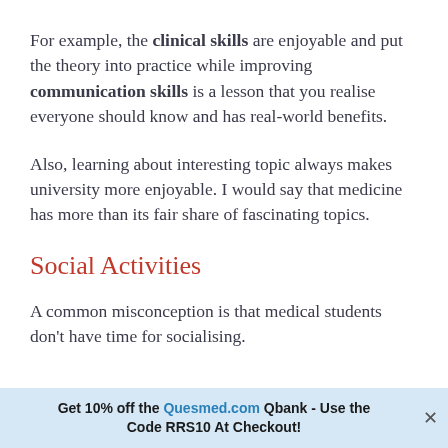For example, the clinical skills are enjoyable and put the theory into practice while improving communication skills is a lesson that you realise everyone should know and has real-world benefits.
Also, learning about interesting topic always makes university more enjoyable. I would say that medicine has more than its fair share of fascinating topics.
Social Activities
A common misconception is that medical students don't have time for socialising.
Get 10% off the Quesmed.com Qbank - Use the Code RRS10 At Checkout!